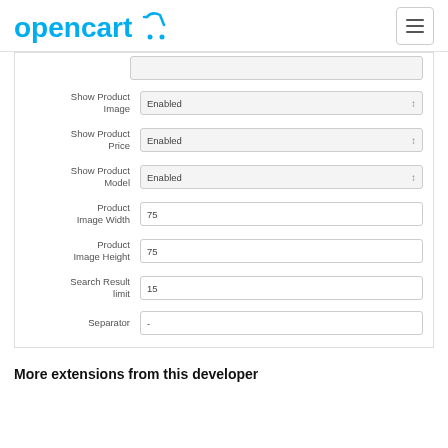opencart [logo]
Show Product Image: Enabled
Show Product Price: Enabled
Show Product Model: Enabled
Product Image Width: 75
Product Image Height: 75
Search Result limit: 15
Separator: -
More extensions from this developer